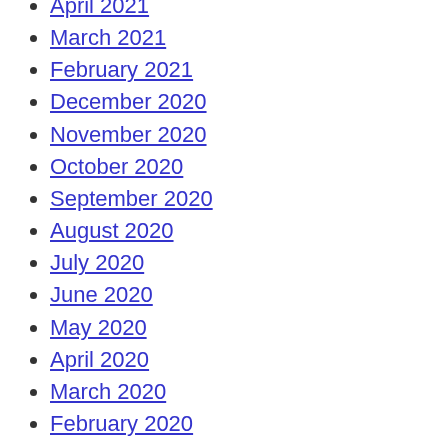April 2021
March 2021
February 2021
December 2020
November 2020
October 2020
September 2020
August 2020
July 2020
June 2020
May 2020
April 2020
March 2020
February 2020
January 2020
November 2019
October 2019
April 2019
January 1970